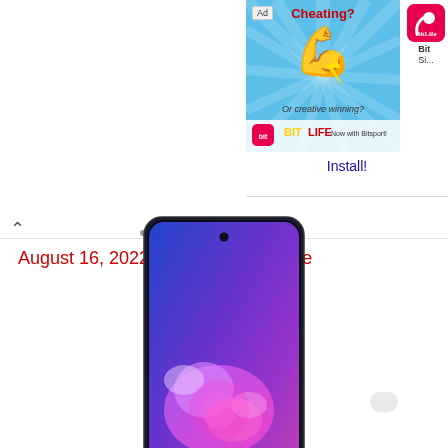[Figure (screenshot): Advertisement banner for BitLife app showing flexing arm emoji, text 'Cheating? Or creative winning?' with BitLife logo, and Install! link]
August 16, 2022 / By Suyog Raybole
[Figure (photo): Samsung Galaxy S10 Lite smartphone with purple/blue gradient wallpaper showing a pink/purple nebula-like image on screen, with punch-hole front camera at top center]